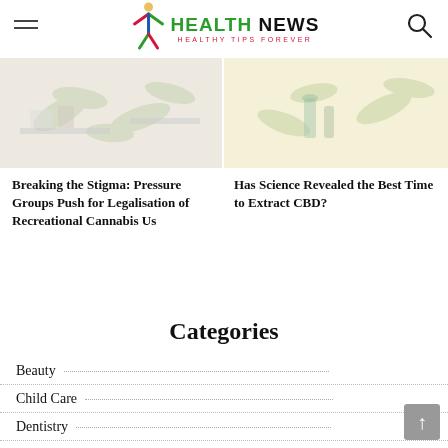HEALTH NEWS — HEALTHY TIPS FOREVER
[Figure (illustration): Cannabis/marijuana themed illustration with pale background and leaf motifs]
Breaking the Stigma: Pressure Groups Push for Legalisation of Recreational Cannabis Us
[Figure (illustration): CBD oil extraction themed illustration with pale yellow background and plant/bottle motifs]
Has Science Revealed the Best Time to Extract CBD?
Categories
Beauty
Child Care
Dentistry